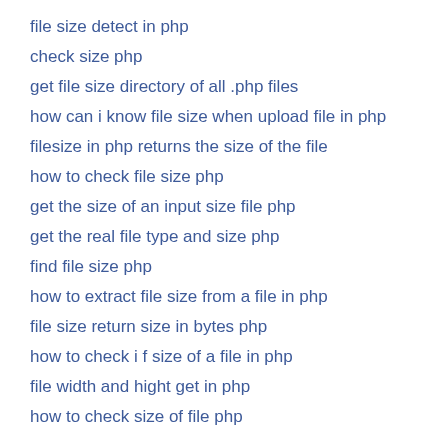file size detect in php
check size php
get file size directory of all .php files
how can i know file size when upload file in php
filesize in php returns the size of the file
how to check file size php
get the size of an input size file php
get the real file type and size php
find file size php
how to extract file size from a file in php
file size return size in bytes php
how to check i f size of a file in php
file width and hight get in php
how to check size of file php